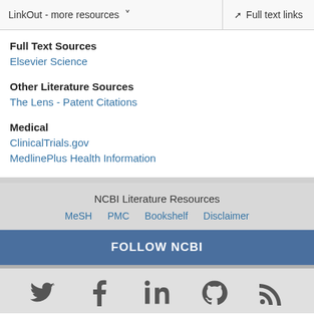LinkOut - more resources   Full text links
Full Text Sources
Elsevier Science
Other Literature Sources
The Lens - Patent Citations
Medical
ClinicalTrials.gov
MedlinePlus Health Information
NCBI Literature Resources  MeSH  PMC  Bookshelf  Disclaimer
FOLLOW NCBI